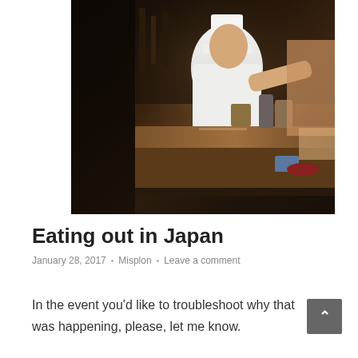[Figure (photo): A Japanese restaurant kitchen scene with a chef in white uniform and hat working behind a wooden counter. Customers visible on the right side. Dark ambient lighting with warm tones.]
Eating out in Japan
January 28, 2017 · Misplon · Leave a comment
In the event you'd like to troubleshoot why that was happening, please, let me know.